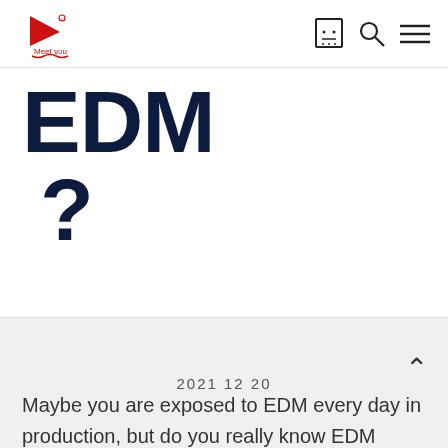Meet you [logo] [cart icon] [search icon] [menu icon]
EDM ?
2021 12 20
Maybe you are exposed to EDM every day in production, but do you really know EDM well?